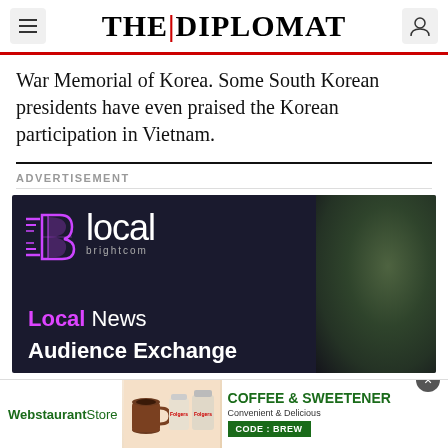THE DIPLOMAT
War Memorial of Korea. Some South Korean presidents have even praised the Korean participation in Vietnam.
ADVERTISEMENT
[Figure (logo): Brightcom 'Blocal' ad — Local News Audience Exchange with purple stylized B logo on dark background]
[Figure (advertisement): WebstaurantStore Coffee & Sweetener banner ad with Folgers products. Text: COFFEE & SWEETENER, Convenient & Delicious, CODE: BREW]